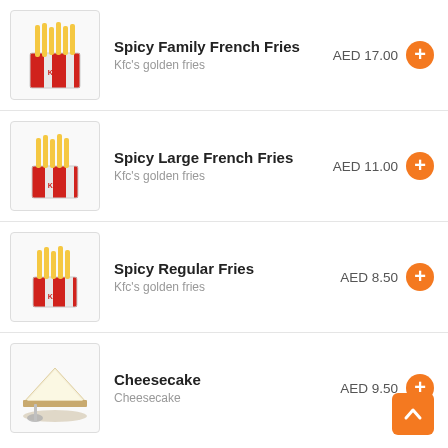[Figure (photo): KFC french fries in a red and white striped bucket/box]
Spicy Family French Fries
Kfc's golden fries
AED 17.00
[Figure (photo): KFC french fries in a red and white striped box]
Spicy Large French Fries
Kfc's golden fries
AED 11.00
[Figure (photo): KFC french fries in a red and white striped box]
Spicy Regular Fries
Kfc's golden fries
AED 8.50
[Figure (photo): Slice of cheesecake with a spoon]
Cheesecake
Cheesecake
AED 9.50